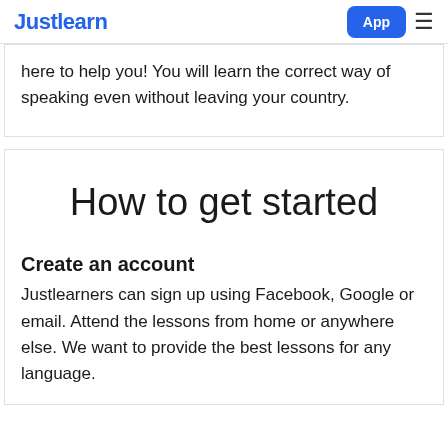Justlearn  App ≡
here to help you! You will learn the correct way of speaking even without leaving your country.
How to get started
Create an account
Justlearners can sign up using Facebook, Google or email. Attend the lessons from home or anywhere else. We want to provide the best lessons for any language.